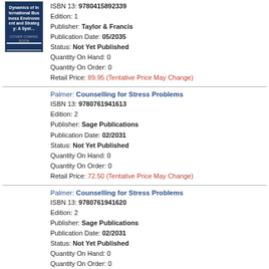[Figure (illustration): Book cover placeholder for 'Dynamics of International Business Environment and Strategy: A Syst...' with dark blue background and 'COVER COMING SOON' text]
ISBN 13: 9780415892339
Edition: 1
Publisher: Taylor & Francis
Publication Date: 05/2035
Status: Not Yet Published
Quantity On Hand: 0
Quantity On Order: 0
Retail Price: 89.95 (Tentative Price May Change)
Palmer: Counselling for Stress Problems
ISBN 13: 9780761941613
Edition: 2
Publisher: Sage Publications
Publication Date: 02/2031
Status: Not Yet Published
Quantity On Hand: 0
Quantity On Order: 0
Retail Price: 72.50 (Tentative Price May Change)
Palmer: Counselling for Stress Problems
ISBN 13: 9780761941620
Edition: 2
Publisher: Sage Publications
Publication Date: 02/2031
Status: Not Yet Published
Quantity On Hand: 0
Quantity On Order: 0
Retail Price: 30.00 (Tentative Price May Change)
Gilligan: Strategic Marketing Planning